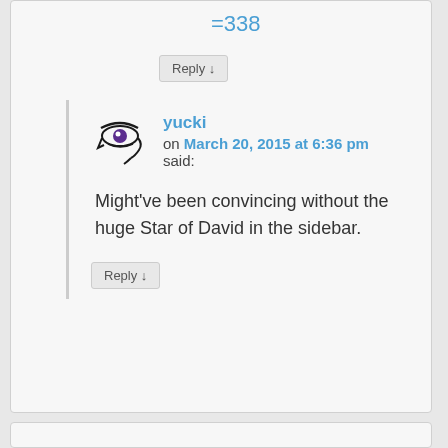=338
Reply ↓
yucki
on March 20, 2015 at 6:36 pm said:
Might've been convincing without the huge Star of David in the sidebar.
Reply ↓